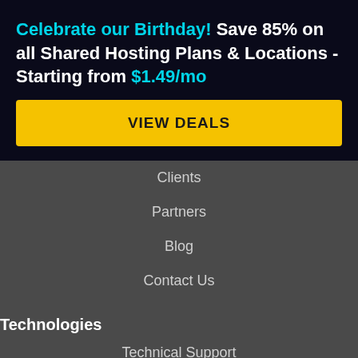Celebrate our Birthday! Save 85% on all Shared Hosting Plans & Locations - Starting from $1.49/mo
VIEW DEALS
Clients
Partners
Blog
Contact Us
Technologies
Technical Support
Optimized Hosting
Website Security
Service Uptime
Control Panel
Datacenters